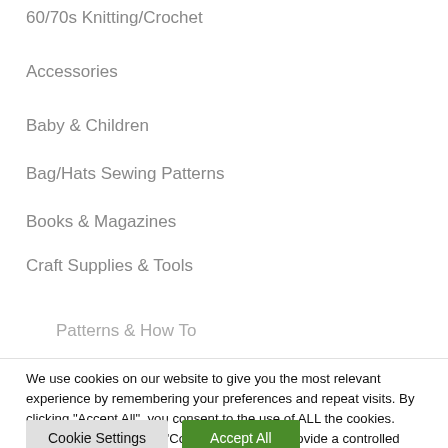60/70s Knitting/Crochet
Accessories
Baby & Children
Bag/Hats Sewing Patterns
Books & Magazines
Craft Supplies & Tools
Patterns & How To
We use cookies on our website to give you the most relevant experience by remembering your preferences and repeat visits. By clicking "Accept All", you consent to the use of ALL the cookies. However, you may visit "Cookie Settings" to provide a controlled consent.
Cookie Settings | Accept All